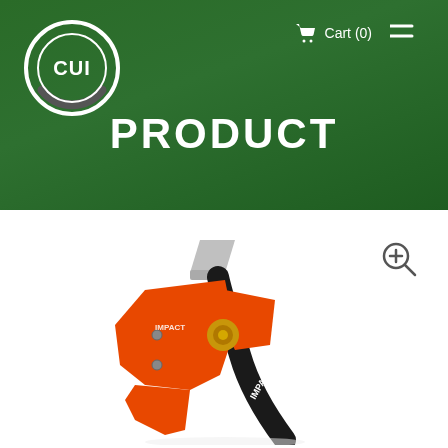[Figure (logo): CUI brand logo — circular white ring with 'CUI' text and a stylized dark arc inside, on dark green background]
Cart (0)
PRODUCT
[Figure (photo): Orange and black mechanical tool — an Impact branded utility/cutter tool with an orange body, black angled handle, and small gold hardware components, photographed on white background]